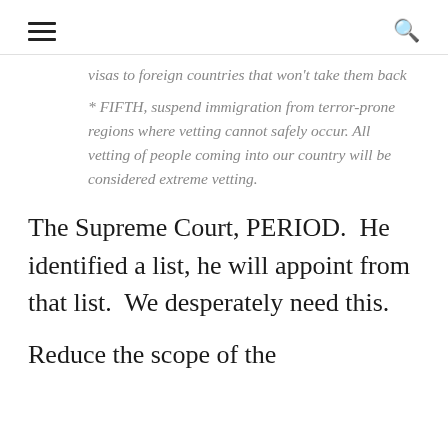☰  🔍
visas to foreign countries that won't take them back
* FIFTH, suspend immigration from terror-prone regions where vetting cannot safely occur. All vetting of people coming into our country will be considered extreme vetting.
The Supreme Court, PERIOD.  He identified a list, he will appoint from that list.  We desperately need this.
Reduce the scope of the